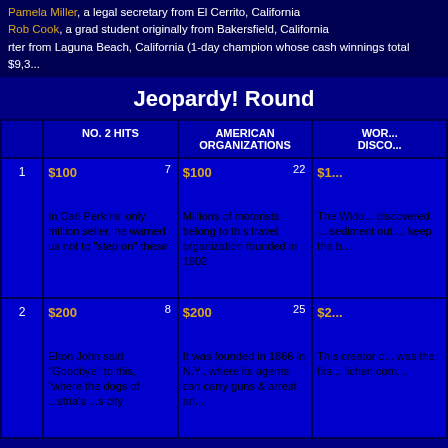Pamela Miller, a legal secretary from El Cerrito, California
Rob Cook, a grad student originally from Bakersfield, California
...rter from Laguna Beach, California (1-day champion whose cash winnings total $9,3...)
Jeopardy! Round
|  | NO. 2 HITS | AMERICAN ORGANIZATIONS | WOR... DISCO... |
| --- | --- | --- | --- |
| 1 | $100 [7] | $100 [22] | $1... |
|  | In Carl Perkins' only million seller, he warned us not to "step on" these | Millions of motorists belong to this travel organization founded in 1902 | The Wido... discovered ... sediment out ... keep the b... |
| 2 | $200 [8] | $200 [25] | $2... |
|  | Elton John said "Goodbye" to this, "where the dogs of ...stria's ...s city | It was founded in 1866 in N.Y., where its agents can carry guns & arrest an... | This creator o... was the firs... lichen com... |